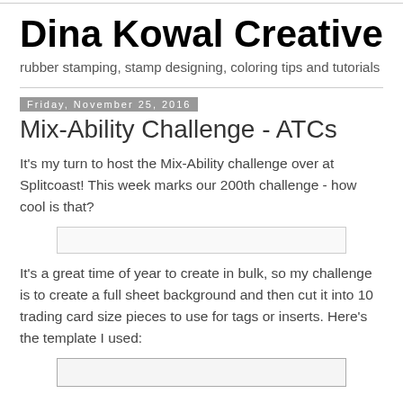Dina Kowal Creative
rubber stamping, stamp designing, coloring tips and tutorials
Friday, November 25, 2016
Mix-Ability Challenge - ATCs
It's my turn to host the Mix-Ability challenge over at Splitcoast! This week marks our 200th challenge - how cool is that?
[Figure (other): Horizontal placeholder image or embedded content area]
It's a great time of year to create in bulk, so my challenge is to create a full sheet background and then cut it into 10 trading card size pieces to use for tags or inserts. Here's the template I used:
[Figure (other): Template image showing trading card grid layout partially visible at bottom]